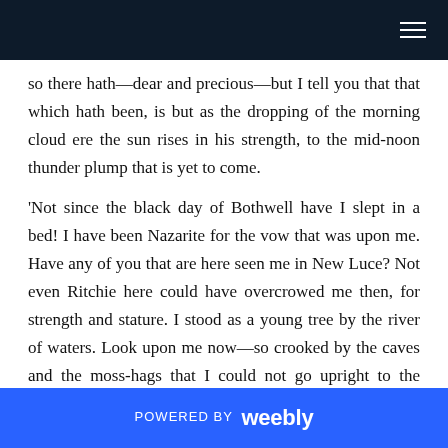so there hath—dear and precious—but I tell you that that which hath been, is but as the dropping of the morning cloud ere the sun rises in his strength, to the mid-noon thunder plump that is yet to come.
'Not since the black day of Bothwell have I slept in a bed! I have been Nazarite for the vow that was upon me. Have any of you that are here seen me in New Luce? Not even Ritchie here could have overcrowed me then, for strength and stature. I stood as a young tree by the river of waters. Look upon me now—so crooked by the caves and the moss-hags that I could not go upright to the scaffold. The sword handle is fit for your hands, and the Lord of Battles
POWERED BY weebly